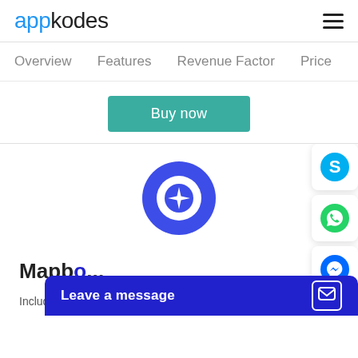appkodes
Overview    Features    Revenue Factor    Price
Buy now
[Figure (logo): Mapb... app logo: blue circle with white star/sparkle pin icon inside]
Mapb...
Include cost-effecti...
[Figure (screenshot): Social contact icons: Skype (blue), WhatsApp (green), Messenger (blue) floating on right side]
Leave a message